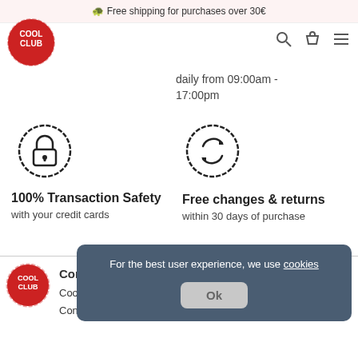Free shipping for purchases over 30€
[Figure (logo): Cool Club logo — red circle with hand-drawn border, white text COOL CLUB]
daily from 09:00am - 17:00pm
[Figure (illustration): Lock icon in hand-drawn circle]
100% Transaction Safety
with your credit cards
[Figure (illustration): Refresh/return arrows icon in hand-drawn circle]
Free changes & returns
within 30 days of purchase
[Figure (logo): Cool Club footer logo — red circle with COOL CLUB text]
Company
Cool Club
Contact
Information
Shipping Methods
Payment methods
For the best user experience, we use cookies
Ok